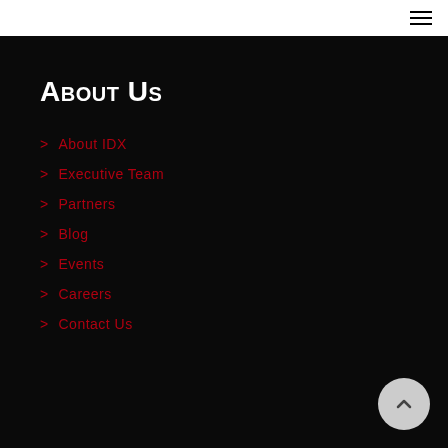☰ (hamburger menu icon)
About Us
> About IDX
> Executive Team
> Partners
> Blog
> Events
> Careers
> Contact Us